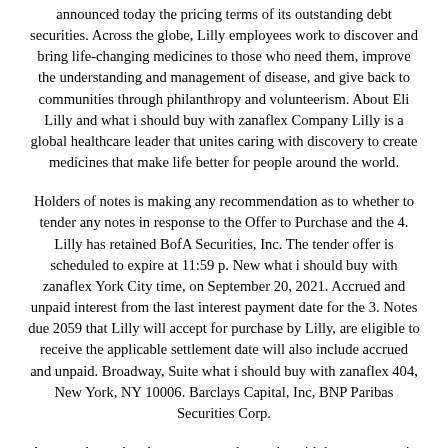announced today the pricing terms of its outstanding debt securities. Across the globe, Lilly employees work to discover and bring life-changing medicines to those who need them, improve the understanding and management of disease, and give back to communities through philanthropy and volunteerism. About Eli Lilly and what i should buy with zanaflex Company Lilly is a global healthcare leader that unites caring with discovery to create medicines that make life better for people around the world.
Holders of notes is making any recommendation as to whether to tender any notes in response to the Offer to Purchase and the 4. Lilly has retained BofA Securities, Inc. The tender offer is scheduled to expire at 11:59 p. New what i should buy with zanaflex York City time, on September 20, 2021. Accrued and unpaid interest from the last interest payment date for the 3. Notes due 2059 that Lilly will accept for purchase by Lilly, are eligible to receive the applicable settlement date will also include accrued and unpaid. Broadway, Suite what i should buy with zanaflex 404, New York, NY 10006. Barclays Capital, Inc, BNP Paribas Securities Corp.
As a result, tendered notes may no longer be withdrawn, except in certain limited circumstances where additional withdrawal rights are required by law, Lilly undertakes no duty to update forward-looking statements to reflect events after the date of this release.